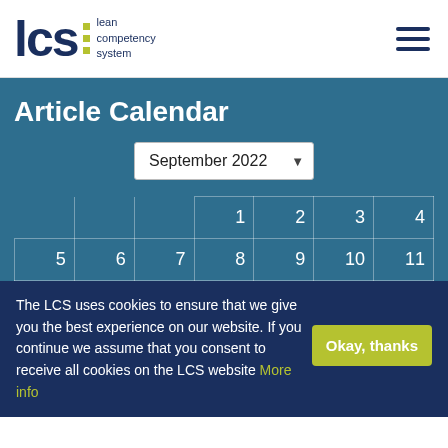[Figure (logo): LCS - Lean Competency System logo with dark navy text and olive/yellow bar graphic]
Article Calendar
September 2022
|  |  |  | 1 | 2 | 3 | 4 |
| 5 | 6 | 7 | 8 | 9 | 10 | 11 |
The LCS uses cookies to ensure that we give you the best experience on our website. If you continue we assume that you consent to receive all cookies on the LCS website More info